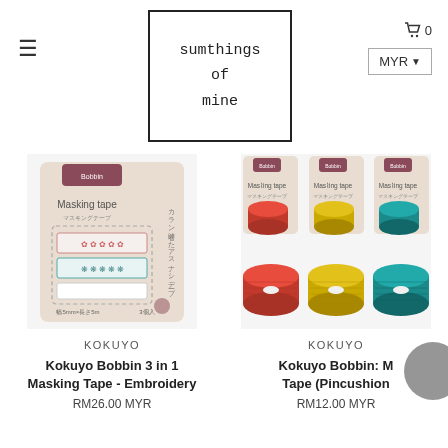[Figure (logo): Hamburger menu icon (three horizontal lines) on the top left]
[Figure (logo): Store logo box with text 'sumthings of mine' in a hand-written style font inside a black border rectangle]
[Figure (logo): Cart icon showing cart symbol and '0', and MYR currency selector button]
[Figure (photo): Product photo of Kokuyo Bobbin 3 in 1 Masking Tape - Embroidery, showing packaged masking tapes with floral/embroidery patterns]
KOKUYO
Kokuyo Bobbin 3 in 1 Masking Tape - Embroidery
RM26.00 MYR
[Figure (photo): Product photo of Kokuyo Bobbin Masking Tape (Pincushion) showing three rolls of tape in red, gold/yellow, and teal colors with packaging above]
KOKUYO
Kokuyo Bobbin: Masking Tape (Pincushion)
RM12.00 MYR